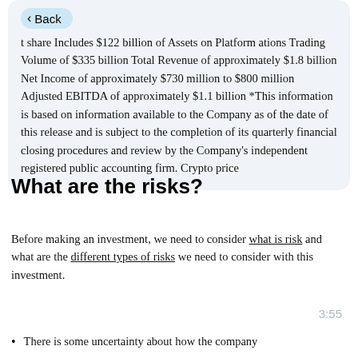t share Includes $122 billion of Assets on Platform ations Trading Volume of $335 billion Total Revenue of approximately $1.8 billion Net Income of approximately $730 million to $800 million Adjusted EBITDA of approximately $1.1 billion *This information is based on information available to the Company as of the date of this release and is subject to the completion of its quarterly financial closing procedures and review by the Company's independent registered public accounting firm. Crypto price
What are the risks?
Before making an investment, we need to consider what is risk and what are the different types of risks we need to consider with this investment.
3:55
There is some uncertainty about how the company